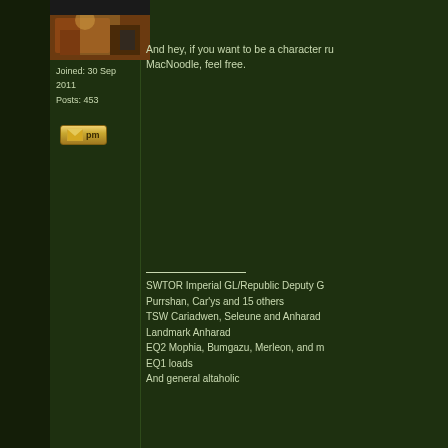[Figure (photo): User avatar photo showing a person at a desk with wooden furniture]
Joined: 30 Sep 2011
Posts: 453
[Figure (other): PM (private message) button]
And hey, if you want to be a character run by MacNoodle, feel free.
SWTOR Imperial GL/Republic Deputy G
Purrshan, Car'ys and 15 others
TSW Cariadwen, Seleune and Anharad
Landmark Anharad
EQ2 Mophia, Bumgazu, Merleon, and m
EQ1 loads
And general altaholic
Back to top